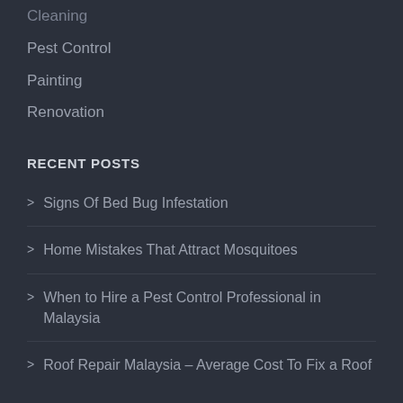Cleaning
Pest Control
Painting
Renovation
RECENT POSTS
Signs Of Bed Bug Infestation
Home Mistakes That Attract Mosquitoes
When to Hire a Pest Control Professional in Malaysia
Roof Repair Malaysia – Average Cost To Fix a Roof